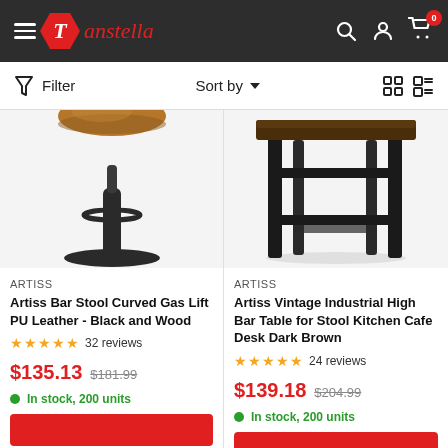Tanstella — navigation header with hamburger menu, logo, search, account, cart (0)
Filter   Sort by   [grid view] [list view]
[Figure (photo): Artiss bar stool with black metal pedestal base and circular footrest ring, partially cropped at top showing walnut/wood seat]
ARTISS
Artiss Bar Stool Curved Gas Lift PU Leather - Black and Wood
★★★★★ 32 reviews
$135.13  $181.99
● In stock, 200 units
[Figure (photo): Artiss vintage industrial high bar table with dark brown top and black metal frame/legs, cross bar stretchers, partially cropped showing lower portion]
ARTISS
Artiss Vintage Industrial High Bar Table for Stool Kitchen Cafe Desk Dark Brown
★★★★★ 24 reviews
$139.18  $204.99
● In stock, 200 units